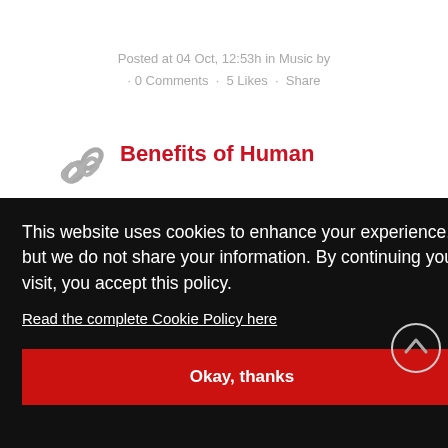Posted at 04 Oct, 12:53h in Music by · 0 Comments · 5 Likes · Share
[Figure (illustration): Chain link icon in gray]
Benefits of Human
This website uses cookies to enhance your experience, but we do not share your information. By continuing your visit, you accept this policy.
Read the complete Cookie Policy here
Okay, thanks